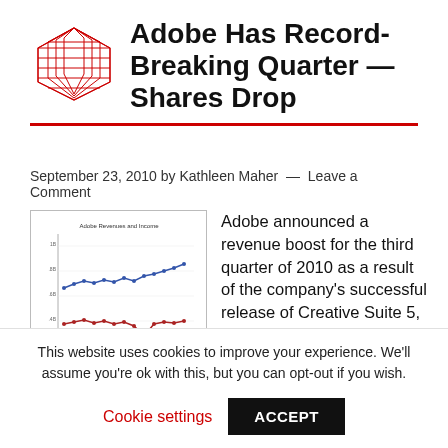Adobe Has Record-Breaking Quarter — Shares Drop
September 23, 2010 by Kathleen Maher  —  Leave a Comment
[Figure (line-chart): Adobe Revenue and Income line chart showing two trend lines over multiple quarters. Blue line (upper) shows revenue, red/dark line (lower) shows income. Chart title reads 'Adobe Revenues and Income'.]
Adobe announced a revenue boost for the third quarter of 2010 as a result of the company's successful release of Creative Suite 5, and also new revenue from its Enterprise products. For the third quarter...
This website uses cookies to improve your experience. We'll assume you're ok with this, but you can opt-out if you wish.
Cookie settings
ACCEPT